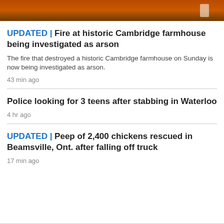[Figure (photo): Fire scene photo showing orange flames or fire glow, dark silhouette of a person visible on the right side]
UPDATED | Fire at historic Cambridge farmhouse being investigated as arson
The fire that destroyed a historic Cambridge farmhouse on Sunday is now being investigated as arson.
43 min ago
Police looking for 3 teens after stabbing in Waterloo
4 hr ago
UPDATED | Peep of 2,400 chickens rescued in Beamsville, Ont. after falling off truck
17 min ago